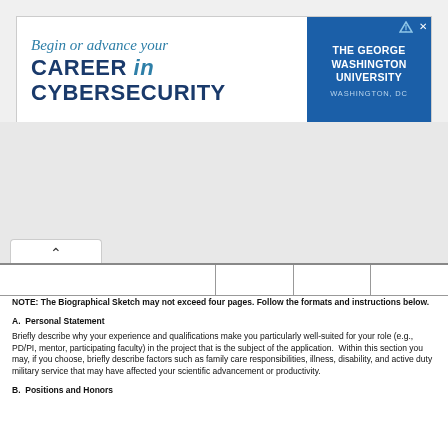[Figure (illustration): Advertisement banner for The George Washington University cybersecurity program. Left side has italic teal text 'Begin or advance your' and bold dark blue text 'CAREER in CYBERSECURITY'. Right side has dark blue background with white bold text 'THE GEORGE WASHINGTON UNIVERSITY' and 'WASHINGTON, DC' in light blue.]
NOTE: The Biographical Sketch may not exceed four pages. Follow the formats and instructions below.
A.  Personal Statement
Briefly describe why your experience and qualifications make you particularly well-suited for your role (e.g., PD/PI, mentor, participating faculty) in the project that is the subject of the application.  Within this section you may, if you choose, briefly describe factors such as family care responsibilities, illness, disability, and active duty military service that may have affected your scientific advancement or productivity.
B.  Positions and Honors